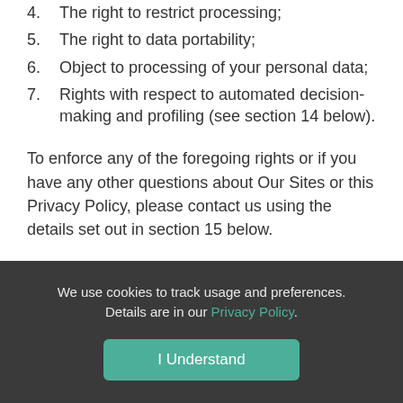4. The right to restrict processing;
5. The right to data portability;
6. Object to processing of your personal data;
7. Rights with respect to automated decision-making and profiling (see section 14 below).
To enforce any of the foregoing rights or if you have any other questions about Our Sites or this Privacy Policy, please contact us using the details set out in section 15 below.
We use cookies to track usage and preferences. Details are in our Privacy Policy.
I Understand